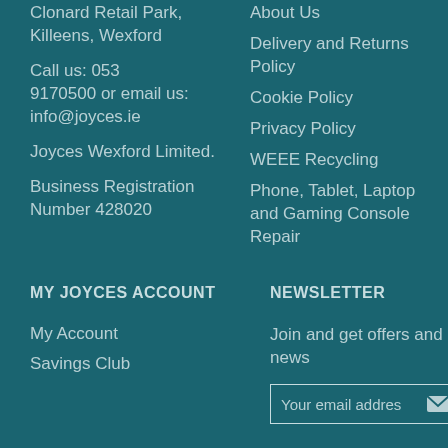Clonard Retail Park, Killeens, Wexford
Call us: 053 9170500 or email us: info@joyces.ie
Joyces Wexford Limited.
Business Registration Number 428020
About Us
Delivery and Returns Policy
Cookie Policy
Privacy Policy
WEEE Recycling
Phone, Tablet, Laptop and Gaming Console Repair
MY JOYCES ACCOUNT
NEWSLETTER
My Account
Savings Club
Join and get offers and news
Your email address